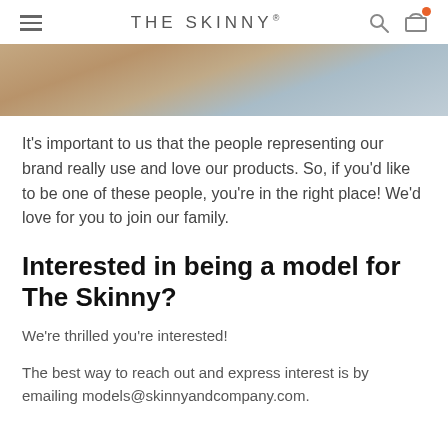THE SKINNY®
[Figure (photo): Cropped photo of a person in a swimsuit near ocean water, showing torso area against beach/water background]
It's important to us that the people representing our brand really use and love our products. So, if you'd like to be one of these people, you're in the right place! We'd love for you to join our family.
Interested in being a model for The Skinny?
We're thrilled you're interested!
The best way to reach out and express interest is by emailing models@skinnyandcompany.com.